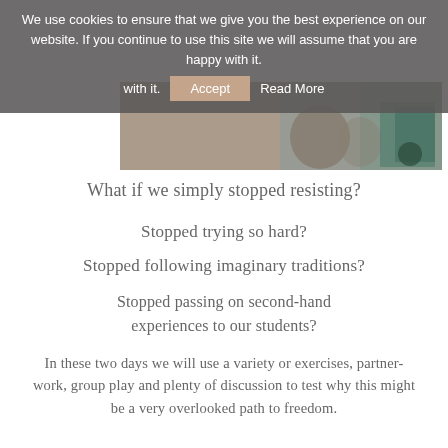We use cookies to ensure that we give you the best experience on our website. If you continue to use this site we will assume that you are happy with it.   Accept   Read More
[Figure (photo): Partial photo of a person sitting on the ground with a skateboard, visible from waist down, wearing jeans]
What if we simply stopped resisting?
Stopped trying so hard?
Stopped following imaginary traditions?
Stopped passing on second-hand experiences to our students?
In these two days we will use a variety or exercises, partner-work, group play and plenty of discussion to test why this might be a very overlooked path to freedom.